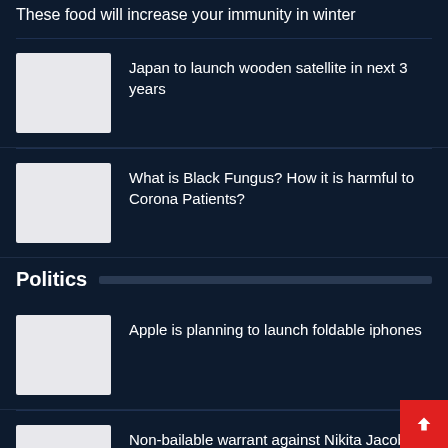These food will increase your immunity in winter
Japan to launch wooden satellite in next 3 years
What is Black Fungus? How it is harmful to Corona Patients?
Politics
Apple is planning to launch foldable iphones
Non-bailable warrant against Nikita Jacob b Delhi -police…